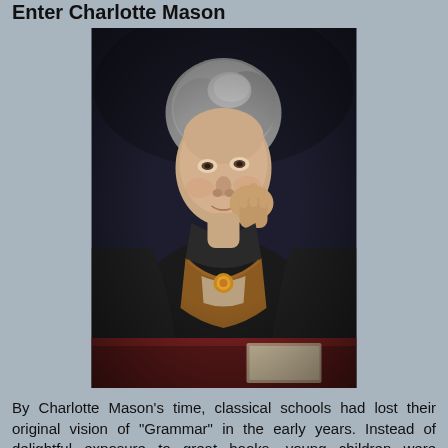Enter Charlotte Mason
[Figure (photo): Oil painting portrait of Charlotte Mason, an older woman with gray hair pinned up, resting her cheek on her hand, wearing dark clothing, seated at a table with a red cloth, dark background.]
By Charlotte Mason's time, classical schools had lost their original vision of "Grammar" in the early years. Instead of delightful exposure to great books, young children were commonly burned out with an abundance of mechanical learning. What was once enjoyable was now tedious.